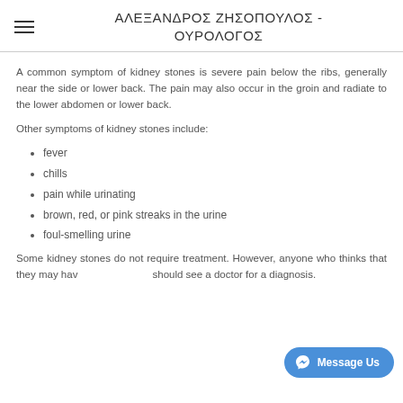ΑΛΕΞΑΝΔΡΟΣ ΖΗΣΟΠΟΥΛΟΣ - ΟΥΡΟΛΟΓΟΣ
A common symptom of kidney stones is severe pain below the ribs, generally near the side or lower back. The pain may also occur in the groin and radiate to the lower abdomen or lower back.
Other symptoms of kidney stones include:
fever
chills
pain while urinating
brown, red, or pink streaks in the urine
foul-smelling urine
Some kidney stones do not require treatment. However, anyone who thinks that they may have should see a doctor for a diagnosis.